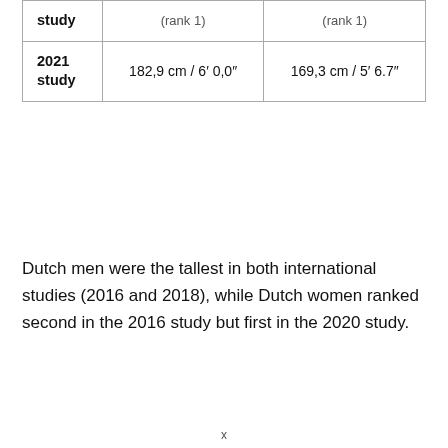| study | Men (rank 1) | Women (rank 1) |
| --- | --- | --- |
| 2021 study | 182,9 cm / 6′ 0,0″ | 169,3 cm / 5′ 6.7″ |
Dutch men were the tallest in both international studies (2016 and 2018), while Dutch women ranked second in the 2016 study but first in the 2020 study.
x